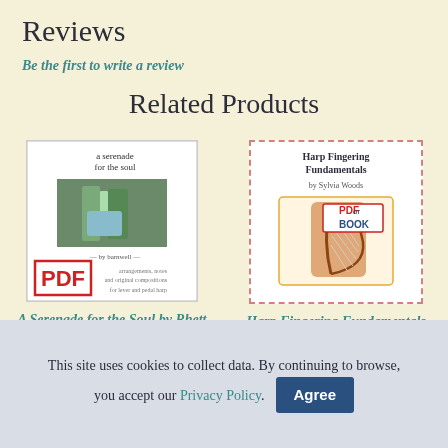Reviews
Be the first to write a review
Related Products
[Figure (illustration): Book cover: A Serenade for the Soul by Rhett Barnwell PDF - white cover with nature photo and red PDF stamp]
A Serenade for the Soul by Rhett Barnwell PDF Download
[Figure (illustration): Book cover: Harp Fingering Fundamentals by Sylvia Woods - white cover with dashed pink border and PDF or BOOK badge]
Harp Fingering Fundamentals by Sylvia Woods
This site uses cookies to collect data. By continuing to browse, you accept our Privacy Policy.   Agree